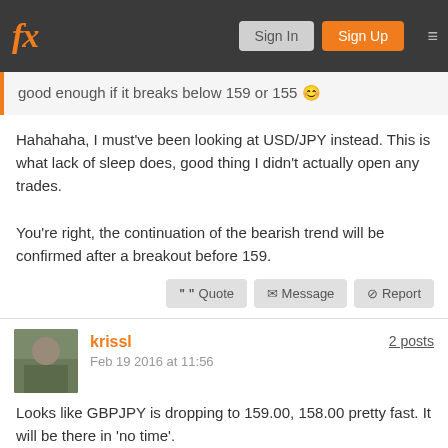fx Sign In Sign Up
good enough if it breaks below 159 or 155 😊
Hahahaha, I must've been looking at USD/JPY instead. This is what lack of sleep does, good thing I didn't actually open any trades.

You're right, the continuation of the bearish trend will be confirmed after a breakout before 159.
" Quote  ✉ Message  ⊘ Report
krissl
Feb 19 2016 at 11:56
2 posts
Looks like GBPJPY is dropping to 159.00, 158.00 pretty fast. It will be there in 'no time'.
Attachments:
[Figure (screenshot): Partial chart thumbnail showing a financial price chart for GBPJPY]